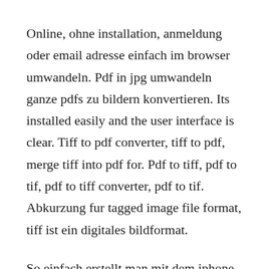Online, ohne installation, anmeldung oder email adresse einfach im browser umwandeln. Pdf in jpg umwandeln ganze pdfs zu bildern konvertieren. Its installed easily and the user interface is clear. Tiff to pdf converter, tiff to pdf, merge tiff into pdf for. Pdf to tiff, pdf to tif, pdf to tiff converter, pdf to tif. Abkurzung fur tagged image file format, tiff ist ein digitales bildformat.
So einfach erstellt man mit dem iphone pdfs youtube. Dafur stehen euch sowohl